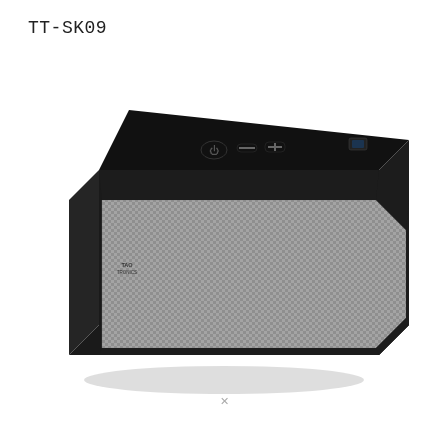TT-SK09
[Figure (photo): A rectangular Bluetooth speaker (TT-SK09 model) shown in a 3/4 perspective view. The speaker has a dark/black rectangular body with rounded edges, a gray metallic mesh grille covering the front face, and a black top panel with control buttons including a power button, volume/playback controls, and a Bluetooth indicator light. The TaoTronics logo is visible on the front left side.]